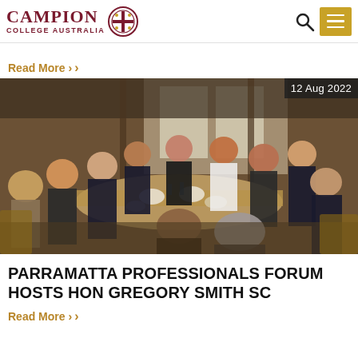Campion College Australia
Read More
[Figure (photo): Group of approximately 15 people seated around a large dining table in a restaurant, engaged in conversation over a meal. Date badge reads '12 Aug 2022'.]
PARRAMATTA PROFESSIONALS FORUM HOSTS HON GREGORY SMITH SC
Read More